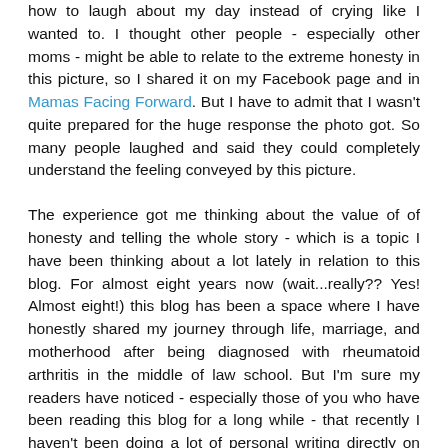how to laugh about my day instead of crying like I wanted to. I thought other people - especially other moms - might be able to relate to the extreme honesty in this picture, so I shared it on my Facebook page and in Mamas Facing Forward. But I have to admit that I wasn't quite prepared for the huge response the photo got. So many people laughed and said they could completely understand the feeling conveyed by this picture.
The experience got me thinking about the value of of honesty and telling the whole story - which is a topic I have been thinking about a lot lately in relation to this blog. For almost eight years now (wait...really?? Yes! Almost eight!) this blog has been a space where I have honestly shared my journey through life, marriage, and motherhood after being diagnosed with rheumatoid arthritis in the middle of law school. But I'm sure my readers have noticed - especially those of you who have been reading this blog for a long while - that recently I haven't been doing a lot of personal writing directly on this blog. Yes, I've been sharing links to honest stories that have been published elsewhere, but I'm also sharing other information that I think might be useful to